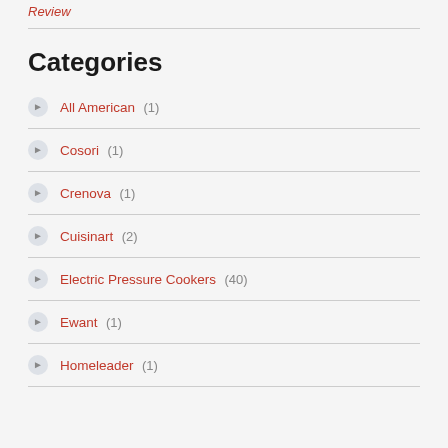Review
Categories
All American (1)
Cosori (1)
Crenova (1)
Cuisinart (2)
Electric Pressure Cookers (40)
Ewant (1)
Homeleader (1)